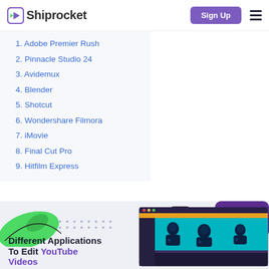Shiprocket — Sign Up
1. Adobe Premier Rush
2. Pinnacle Studio 24
3. Avidemux
4. Blender
5. Shotcut
6. Wondershare Filmora
7. iMovie
8. Final Cut Pro
9. Hitfilm Express
[Figure (illustration): Promotional banner with green blob, purple rectangle decorative elements, dot grid, and a screenshot of a video editing application showing silhouettes of people on a teal background. Text reads 'Different Applications To Edit YouTube Videos'.]
Different Applications To Edit YouTube Videos